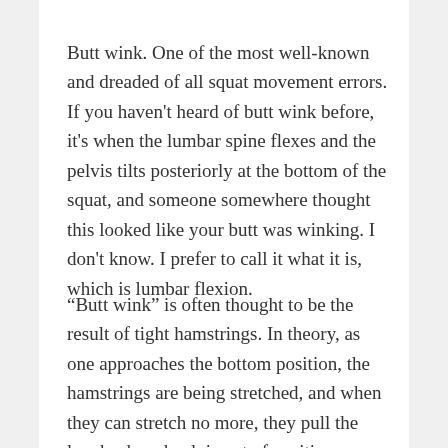Butt wink. One of the most well-known and dreaded of all squat movement errors. If you haven't heard of butt wink before, it's when the lumbar spine flexes and the pelvis tilts posteriorly at the bottom of the squat, and someone somewhere thought this looked like your butt was winking. I don't know. I prefer to call it what it is, which is lumbar flexion.
“Butt wink” is often thought to be the result of tight hamstrings. In theory, as one approaches the bottom position, the hamstrings are being stretched, and when they can stretch no more, they pull the low back and pelvis out of position. Sounds plausible at first since the hamstrings